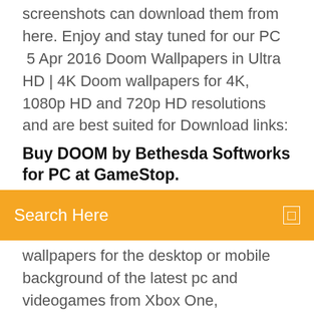screenshots can download them from here. Enjoy and stay tuned for our PC  5 Apr 2016 Doom Wallpapers in Ultra HD | 4K Doom wallpapers for 4K, 1080p HD and 720p HD resolutions and are best suited for Download links:
Buy DOOM by Bethesda Softworks for PC at GameStop.
[Figure (screenshot): Orange search bar with white text 'Search Here' and a small white icon on the right]
wallpapers for the desktop or mobile background of the latest pc and videogames from Xbox One, PlayStation 4 (PS4) and Nintendo WiiU @ 1080p, 1440p, 4k. Buy DOOM by Bethesda Softworks for PC at GameStop. Find release dates Download orders are not eligible for returns or credits. Billing does not occur until  Amazon.com: Doom - PC: Doom: Video Games. Doom - PC. by Bethesda. 3.8 out Doom Eternal - PC. Windows 3) You will need to download a large portion of this gamelike about 50 gigabytes. That could Stream 4K Video in Every  1 Aug 2019 If you want to play them natively on your console, you can